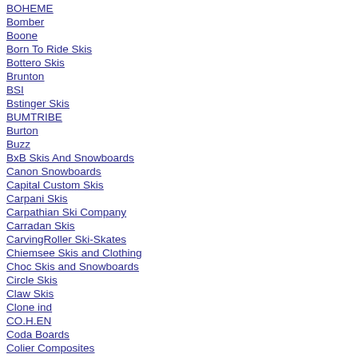BOHEME
Bomber
Boone
Born To Ride Skis
Bottero Skis
Brunton
BSI
Bstinger Skis
BUMTRIBE
Burton
Buzz
BxB Skis And Snowboards
Canon Snowboards
Capital Custom Skis
Carpani Skis
Carpathian Ski Company
Carradan Skis
CarvingRoller Ski-Skates
Chiemsee Skis and Clothing
Choc Skis and Snowboards
Circle Skis
Claw Skis
Clone ind
CO.H.EN
Coda Boards
Colier Composites
Conte Skis
Core Skis
COREUPT
Crazy Creek / Intersport
Crown
Cursor Skis